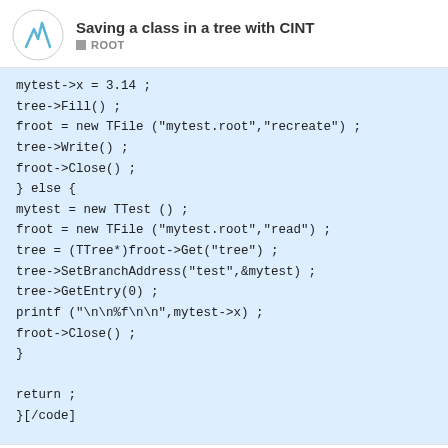Saving a class in a tree with CINT | ROOT
mytest->x = 3.14 ;
tree->Fill() ;
froot = new TFile ("mytest.root","recreate") ;
tree->Write() ;
froot->Close() ;
} else {
mytest = new TTest () ;
froot = new TFile ("mytest.root","read") ;
tree = (TTree*)froot->Get("tree") ;
tree->SetBranchAddress("test",&mytest) ;
tree->GetEntry(0) ;
printf ("\n\n%f\n\n",mytest->x) ;
froot->Close() ;
}

return ;
}[/code]
1 / 5